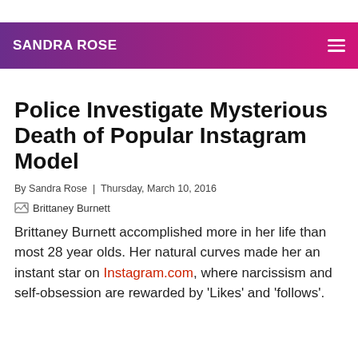SANDRA ROSE
Police Investigate Mysterious Death of Popular Instagram Model
By Sandra Rose  |  Thursday, March 10, 2016
[Figure (photo): Brittaney Burnett image placeholder]
Brittaney Burnett accomplished more in her life than most 28 year olds. Her natural curves made her an instant star on Instagram.com, where narcissism and self-obsession are rewarded by 'Likes' and 'follows'.